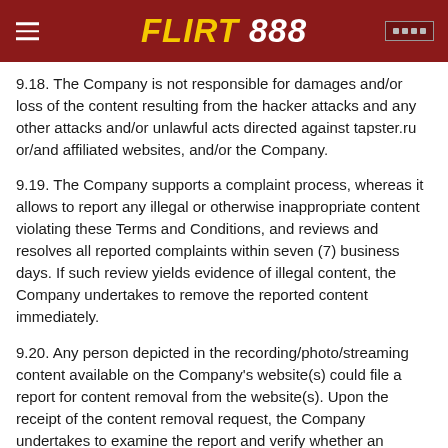FLIRT 888
9.18. The Company is not responsible for damages and/or loss of the content resulting from the hacker attacks and any other attacks and/or unlawful acts directed against tapster.ru or/and affiliated websites, and/or the Company.
9.19. The Company supports a complaint process, whereas it allows to report any illegal or otherwise inappropriate content violating these Terms and Conditions, and reviews and resolves all reported complaints within seven (7) business days. If such review yields evidence of illegal content, the Company undertakes to remove the reported content immediately.
9.20. Any person depicted in the recording/photo/streaming content available on the Company’s website(s) could file a report for content removal from the website(s). Upon the receipt of the content removal request, the Company undertakes to examine the report and verify whether an appropriate prior consent was obtained. If consent cannot be established, or if the person depicted in the content can demonstrate that the consent is void under applicable law, the Company undertakes to remove that content with immediate effect. If the Company disagrees that consent is void under applicable law, the Company allows such disagreement to be resolved by a neutral body, at the Company’s expense.
10th Clause: Free Live Sex Chat Girls on WebCam